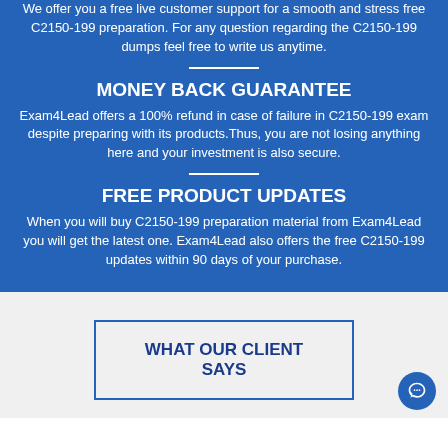We offer you a free live customer support for a smooth and stress free C2150-199 preparation. For any question regarding the C2150-199 dumps feel free to write us anytime.
MONEY BACK GUARANTEE
Exam4Lead offers a 100% refund in case of failure in C2150-199 exam despite preparing with its products.Thus, you are not losing anything here and your investment is also secure.
FREE PRODUCT UPDATES
When you will buy C2150-199 preparation material from Exam4Lead you will get the latest one. Exam4Lead also offers the free C2150-199 updates within 90 days of your purchase.
WHAT OUR CLIENT SAYS